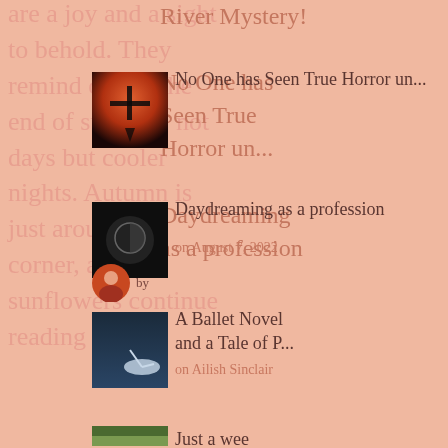are a joy and a sight to behold. They remind one of the end of summer, not days but cooler nights. Autumn is just around the corner, and the sunflowers continue reading →
River Mystery!

No One has Seen True Horror un...

Daydreaming as a profession
[Figure (photo): Book cover thumbnail - horror theme with fire and cross silhouette]
No One has Seen True Horror un...
[Figure (photo): Dark book cover thumbnail with circular moon/orb design]
Daydreaming as a profession
on August 7, 2022
[Figure (photo): Small circular avatar photo]
by
[Figure (photo): Book cover thumbnail - ballet/dance theme, blue tones]
A Ballet Novel and a Tale of P...
on Ailish Sinclair
[Figure (photo): Garden/nature scene thumbnail]
Just a wee